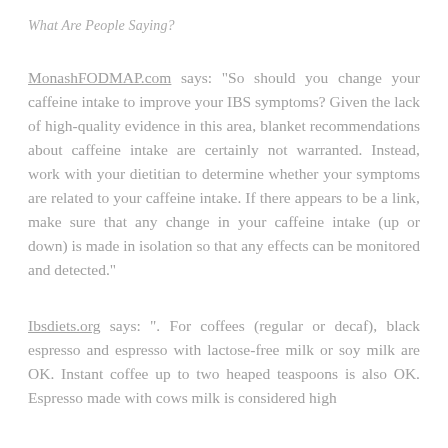What Are People Saying?
MonashFODMAP.com says: "So should you change your caffeine intake to improve your IBS symptoms? Given the lack of high-quality evidence in this area, blanket recommendations about caffeine intake are certainly not warranted. Instead, work with your dietitian to determine whether your symptoms are related to your caffeine intake. If there appears to be a link, make sure that any change in your caffeine intake (up or down) is made in isolation so that any effects can be monitored and detected."
Ibsdiets.org says: ". For coffees (regular or decaf), black espresso and espresso with lactose-free milk or soy milk are OK. Instant coffee up to two heaped teaspoons is also OK. Espresso made with cows milk is considered high